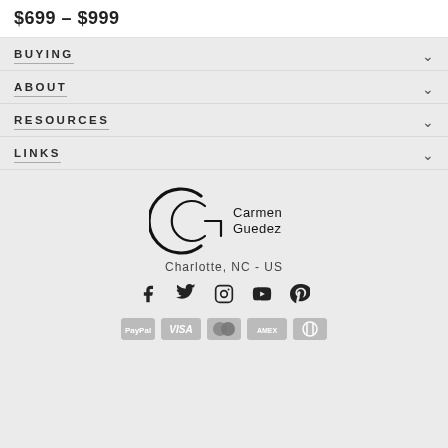$699 – $999
BUYING
ABOUT
RESOURCES
LINKS
[Figure (logo): Carmen Guedez logo with stylized CG lettermark]
Charlotte, NC - US
[Figure (infographic): Social media icons: Facebook, Twitter, Instagram, YouTube, Pinterest]
[Figure (infographic): Payment icons: PayPal, Visa, Mastercard, American Express, Diners Club]